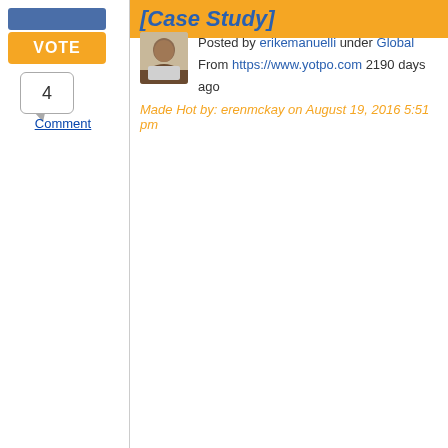[Case Study]
Posted by erikemanuelli under Global
From https://www.yotpo.com 2190 days ago
Made Hot by: erenmckay on August 19, 2016 5:51 pm
Comment
4